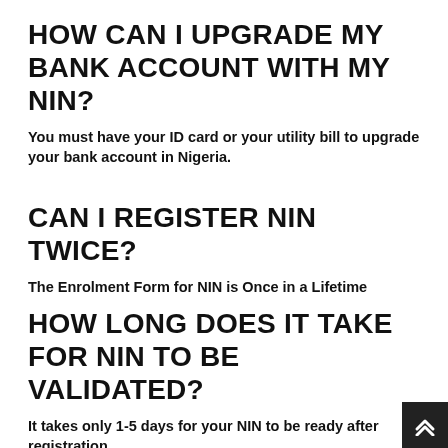HOW CAN I UPGRADE MY BANK ACCOUNT WITH MY NIN?
You must have your ID card or your utility bill to upgrade your bank account in Nigeria.
CAN I REGISTER NIN TWICE?
The Enrolment Form for NIN is Once in a Lifetime
HOW LONG DOES IT TAKE FOR NIN TO BE VALIDATED?
It takes only 1-5 days for your NIN to be ready after registration